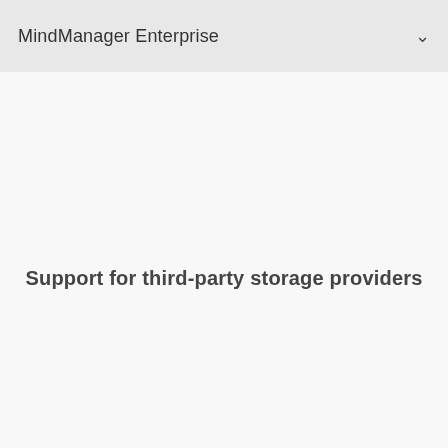MindManager Enterprise
Support for third-party storage providers
Volume license discounts